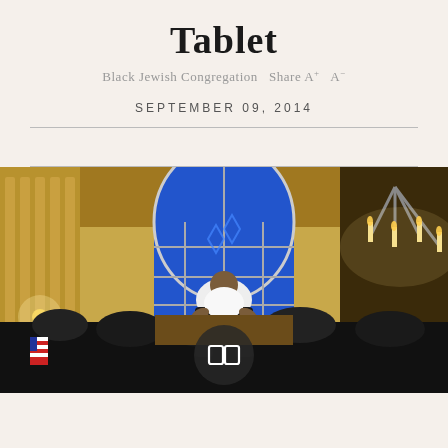Tablet
Black Jewish Congregation   Share A+  A−
SEPTEMBER 09, 2014
[Figure (photo): Interior of a synagogue during a ceremony. A baby dressed in white is being held up above the crowd by an adult. In the background is a large arched stained-glass window with a Star of David, illuminated in blue. A chandelier with candles is visible on the right. An American flag is visible in the lower left corner. A circular dark overlay with a slideshow/gallery icon is visible in the center-bottom of the image.]